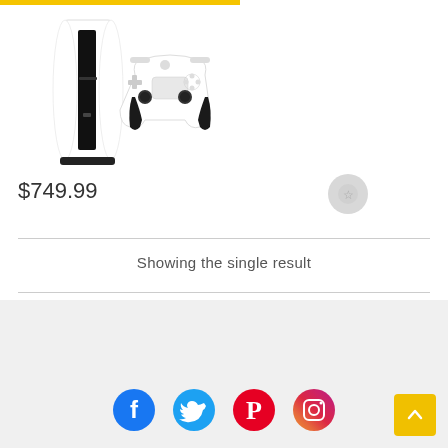[Figure (photo): PlayStation 5 console and DualSense controller product image on white background with yellow accent bar at top]
$749.99
Showing the single result
[Figure (infographic): Footer with social media icons: Facebook, Twitter, Pinterest, Instagram, and a yellow back-to-top arrow button]